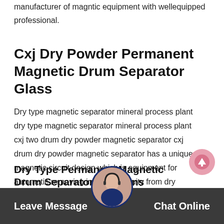manufacturer of magntic equipment with wellequipped professional.
Cxj Dry Powder Permanent Magnetic Drum Separator Glass
Dry type magnetic separator mineral process plant dry type magnetic separator mineral process plant cxj two drum dry powder magnetic separator cxj drum dry powder magnetic separator has a unique magnetic circuit design which is equipment for automatic removing iron in continuity from dry power the magnetic source is the highperformance magnetic of ndfeb first it has strong magnetic.
Leave Message   Chat Online